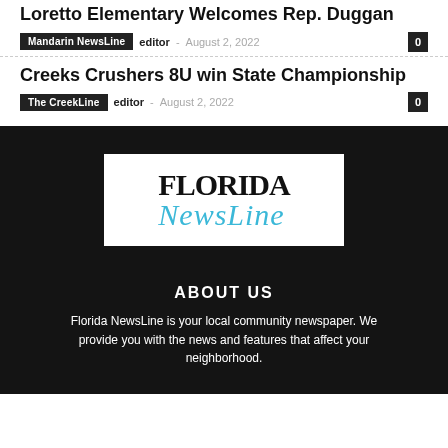Loretto Elementary Welcomes Rep. Duggan
Mandarin NewsLine  editor  -  August 2, 2022   0
Creeks Crushers 8U win State Championship
The CreekLine  editor  -  August 2, 2022   0
[Figure (logo): Florida NewsLine logo: bold serif uppercase FLORIDA in black with cursive 'NewsLine' in light blue, on white background, set against a dark photographic background of musicians]
ABOUT US
Florida NewsLine is your local community newspaper. We provide you with the news and features that affect your neighborhood.